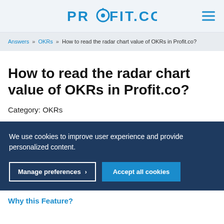PROFIT.CO
Answers » OKRs » How to read the radar chart value of OKRs in Profit.co?
How to read the radar chart value of OKRs in Profit.co?
Category: OKRs
We use cookies to improve user experience and provide personalized content.
Manage preferences  Accept all cookies
Why this Feature?